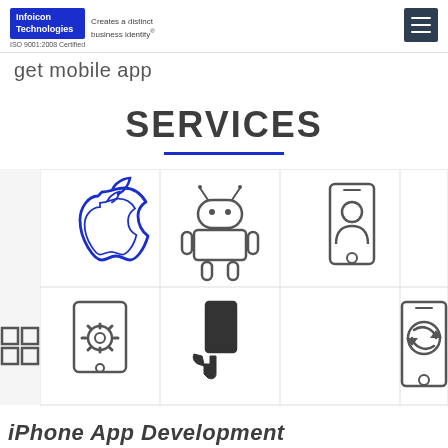Infoicon Technologies — Creates a distinct business identity® — ISO 9001:2008 Certified
get mobile app
SERVICES
[Figure (illustration): Grid of 6 mobile service icons: Apple logo, Android robot, phone with person/contact icon, Windows logo, phone with settings/gear icon, hand touching tablet, phone with circular icon]
iPhone App Development